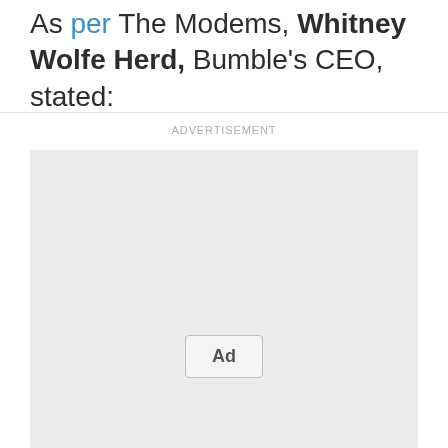As per The Modems, Whitney Wolfe Herd, Bumble's CEO, stated:
[Figure (other): Advertisement placeholder box with 'Ad' button label and 'ADVERTISEMENT' header text]